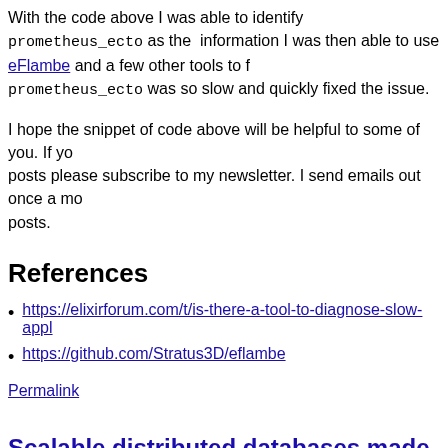With the code above I was able to identify prometheus_ecto as the information I was then able to use eFlambe and a few other tools to find why prometheus_ecto was so slow and quickly fixed the issue.
I hope the snippet of code above will be helpful to some of you. If you posts please subscribe to my newsletter. I send emails out once a mo posts.
References
https://elixirforum.com/t/is-there-a-tool-to-diagnose-slow-appl
https://github.com/Stratus3D/eflambe
Permalink
Scalable distributed databases made easy w CockroachDB | Erlang Solutions Webinar
Permalink